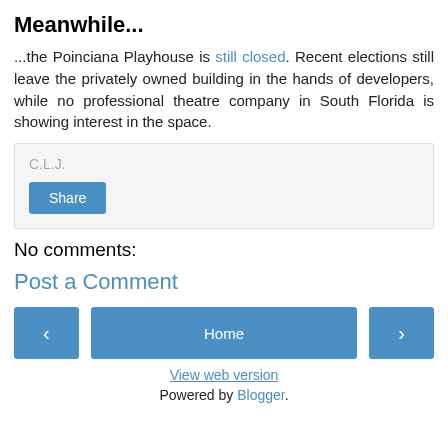Meanwhile...
...the Poinciana Playhouse is still closed. Recent elections still leave the privately owned building in the hands of developers, while no professional theatre company in South Florida is showing interest in the space.
C.L.J.
Share
No comments:
Post a Comment
Home
View web version
Powered by Blogger.